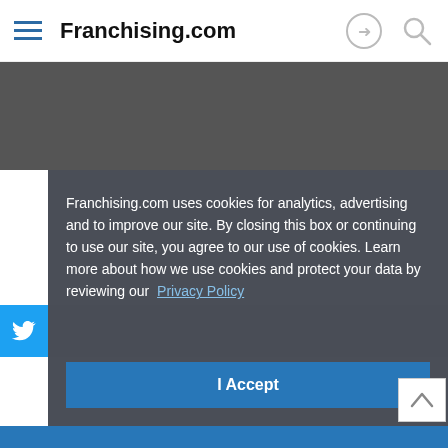Franchising.com
[Figure (screenshot): Website screenshot showing Franchising.com header with hamburger menu, site name, login and search icons]
Franchising.com uses cookies for analytics, advertising and to improve our site. By closing this box or continuing to use our site, you agree to our use of cookies. Learn more about how we use cookies and protect your data by reviewing our Privacy Policy
I Accept